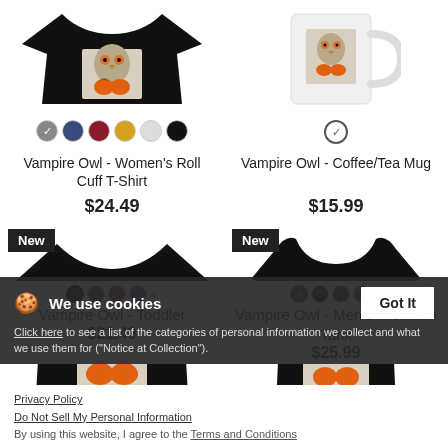[Figure (photo): Black women's roll cuff t-shirt with vampire owl design, color swatches below]
Vampire Owl - Women's Roll Cuff T-Shirt
$24.49
[Figure (photo): White coffee/tea mug with vampire owl design, single white swatch below]
Vampire Owl - Coffee/Tea Mug
$15.99
[Figure (photo): Black toddler t-shirt with vampire owl design, New badge]
[Figure (photo): Black men's premium tank with vampire owl design, New badge]
We use cookies
Click here to see a list of the categories of personal information we collect and what we use them for ("Notice at Collection").
Privacy Policy
Do Not Sell My Personal Information
By using this website, I agree to the Terms and Conditions
Vampire Owl - Toddler
$21.49
Vampire Owl - Men's Premium Tank
$25.99